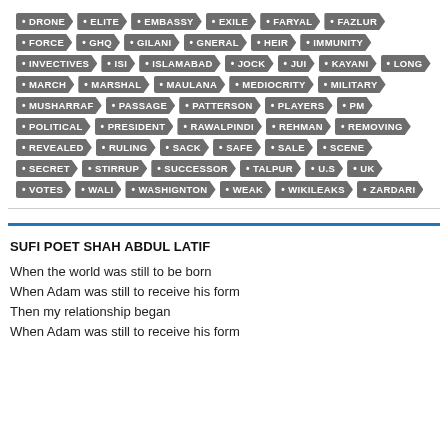[Figure (infographic): Tag cloud with dark grey arrow/chevron shaped tags listing political keywords: DRONE, ELITE, EMBASSY, EXILE, FARYAL, FAZLUR, FORCE, GHQ, GILANI, GNERAL, HEIR, IMMUNITY, INVECTIVES, ISI, ISLAMABAD, JOCK, JUI, KAYANI, LONG, MARCH, MARSHAL, MAULANA, MEDIOCRITY, MILITARY, MUSHARRAF, PASSAGE, PATTERSON, PLAYERS, PM, POLITICAL, PRESIDENT, RAWALPINDI, REHMAN, REMOVING, REVEALED, RULING, SACK, SAFE, SALE, SCENE, SECRET, STIRRUP, SUCCESSOR, TALPUR, U.S, UK, VOTES, WALI, WASHIGNTON, WEAK, WIKILEAKS, ZARDARI]
SUFI POET SHAH ABDUL LATIF
When the world was still to be born
When Adam was still to receive his form
Then my relationship began
When Adam was still to receive his form